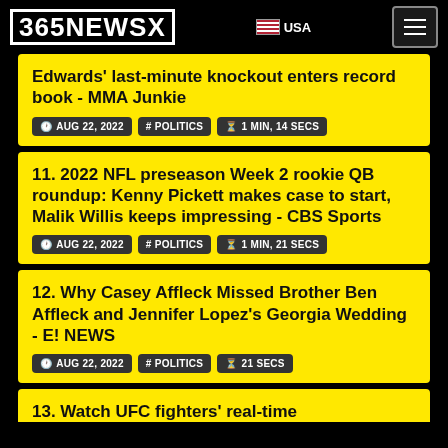365NEWSX | USA
Edwards' last-minute knockout enters record book - MMA Junkie
AUG 22, 2022 | # POLITICS | 1 MIN, 14 SECS
11. 2022 NFL preseason Week 2 rookie QB roundup: Kenny Pickett makes case to start, Malik Willis keeps impressing - CBS Sports
AUG 22, 2022 | # POLITICS | 1 MIN, 21 SECS
12. Why Casey Affleck Missed Brother Ben Affleck and Jennifer Lopez's Georgia Wedding - E! NEWS
AUG 22, 2022 | # POLITICS | 21 SECS
13. Watch UFC fighters' real-time